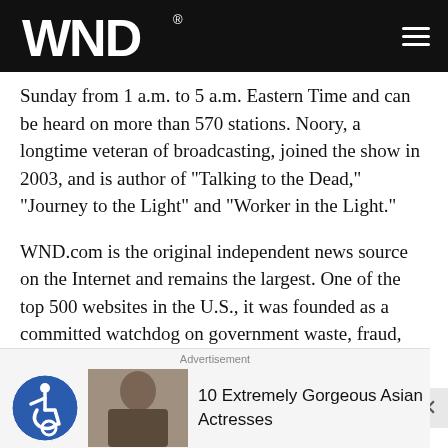WND
Sunday from 1 a.m. to 5 a.m. Eastern Time and can be heard on more than 570 stations. Noory, a longtime veteran of broadcasting, joined the show in 2003, and is author of "Talking to the Dead," "Journey to the Light" and "Worker in the Light."
WND.com is the original independent news source on the Internet and remains the largest. One of the top 500 websites in the U.S., it was founded as a committed watchdog on government waste, fraud, abuse and corruption. Farah is the only independent online news entrepreneur with a long track record in the press. He
Advertisement
10 Extremely Gorgeous Asian Actresses